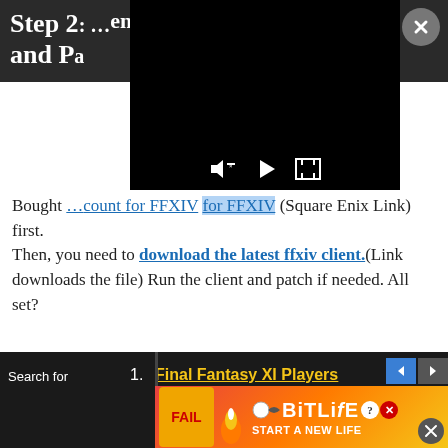Step 2: ... ent and Pa...
[Figure (screenshot): Embedded video player with controls (mute, play, fullscreen) on black background]
Bought ... count for FFXIV (Square Enix Link) first. Then, you need to download the latest ffxiv client.(Link downloads the file) Run the client and patch if needed. All set?
Step 3: Create a Character!
1. Final Fantasy XI Players
[Figure (screenshot): BitLife advertisement banner with FAIL character, BitLife logo, and START A NEW LIFE text]